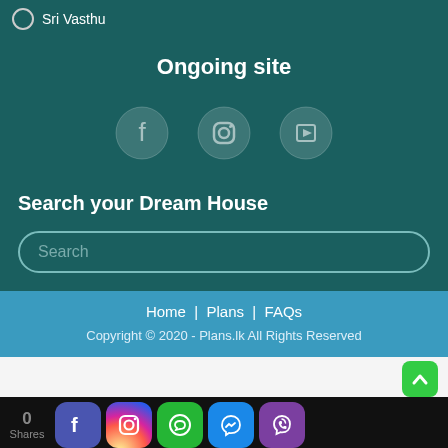Sri Vasthu
Ongoing site
[Figure (illustration): Three social media icons: Facebook, Instagram, YouTube, displayed as semi-transparent circle buttons on teal background]
Search your Dream House
Search (input field placeholder)
Home | Plans | FAQs
Copyright © 2020 - Plans.lk All Rights Reserved
[Figure (infographic): Bottom share bar with social media buttons: Facebook, Instagram, WhatsApp, Messenger, Viber. Shows 0 Shares label.]